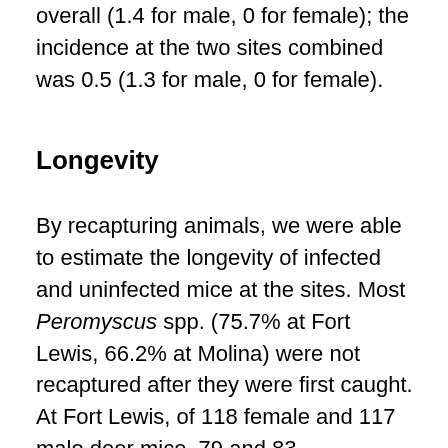overall (1.4 for male, 0 for female); the incidence at the two sites combined was 0.5 (1.3 for male, 0 for female).
Longevity
By recapturing animals, we were able to estimate the longevity of infected and uninfected mice at the sites. Most Peromyscus spp. (75.7% at Fort Lewis, 66.2% at Molina) were not recaptured after they were first caught. At Fort Lewis, of 118 female and 117 male deer mice, 79 and 83, respectively, were caught only once; 61 were recaptured only within a 5-month period, eight within 6 to 9 months, and four 11 to 14 months after they were first captured. At Molina, of 164 female and 150 male deer mice, 115 and 93, respectively, were caught only once; 89 were recaptured only within a 4-month period, 15 only